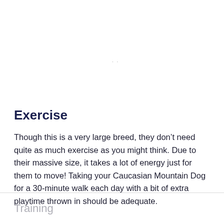Exercise
Though this is a very large breed, they don’t need quite as much exercise as you might think. Due to their massive size, it takes a lot of energy just for them to move! Taking your Caucasian Mountain Dog for a 30-minute walk each day with a bit of extra playtime thrown in should be adequate.
Training